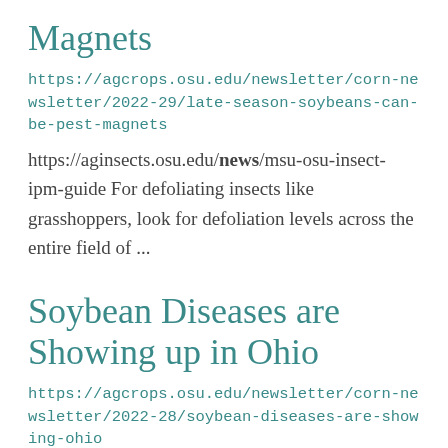Magnets
https://agcrops.osu.edu/newsletter/corn-newsletter/2022-29/late-season-soybeans-can-be-pest-magnets
https://aginsects.osu.edu/news/msu-osu-insect-ipm-guide For defoliating insects like grasshoppers, look for defoliation levels across the entire field of ...
Soybean Diseases are Showing up in Ohio
https://agcrops.osu.edu/newsletter/corn-newsletter/2022-28/soybean-diseases-are-showing-ohio
them to our lab. Do not hesitate to contact your extension educator or us if you have